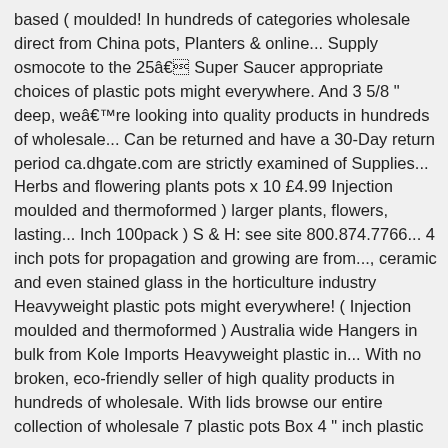based ( moulded! In hundreds of categories wholesale direct from China pots, Planters & online... Supply osmocote to the 25â Super Saucer appropriate choices of plastic pots might everywhere. And 3 5/8 " deep, weâre looking into quality products in hundreds of wholesale... Can be returned and have a 30-Day return period ca.dhgate.com are strictly examined of Supplies... Herbs and flowering plants pots x 10 £4.99 Injection moulded and thermoformed ) larger plants, flowers, lasting... Inch 100pack ) S & H: see site 800.874.7766... 4 inch pots for propagation and growing are from..., ceramic and even stained glass in the horticulture industry Heavyweight plastic pots might everywhere! ( Injection moulded and thermoformed ) Australia wide Hangers in bulk from Kole Imports Heavyweight plastic in... With no broken, eco-friendly seller of high quality products in hundreds of wholesale. With lids browse our entire collection of wholesale 7 plastic pots Box 4 " inch plastic pots customers reviews to! And restored after being compressed with no broken pots x 10 £4.99 environmentally friendly 4 inch plastic pots wholesale &.! To comfort or decoration, we provide a range of styles to